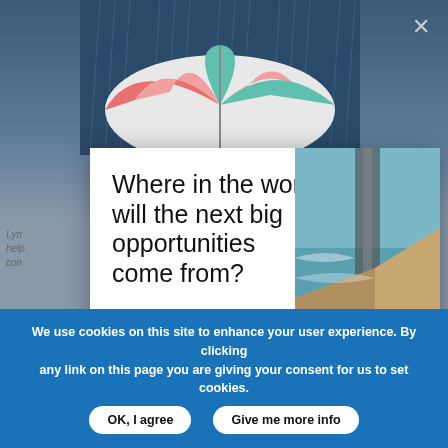[Figure (screenshot): Background screenshot of a webpage with a dark rainy scene with colorful umbrella at top, and grey background content below. A close button (×) is visible in top right.]
Where in the world will the next big opportunities come from?
Join the HSBC Global Emerging Markets Forum 2022 13-30 September
Contact your HSBC representative to register
We use cookies on this site to enhance your user experience. By clicking any link on this page you are giving your consent for us to set cookies.
OK, I agree
Give me more info